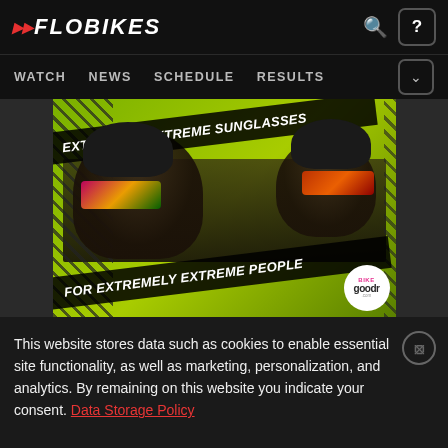FLOBIKES — WATCH NEWS SCHEDULE RESULTS
[Figure (photo): Advertisement for Goodr Bike sunglasses showing two cyclists wearing colorful mirrored sunglasses with text: EXTREMELY EXTREME SUNGLASSES FOR EXTREMELY EXTREME PEOPLE]
This website stores data such as cookies to enable essential site functionality, as well as marketing, personalization, and analytics. By remaining on this website you indicate your consent. Data Storage Policy